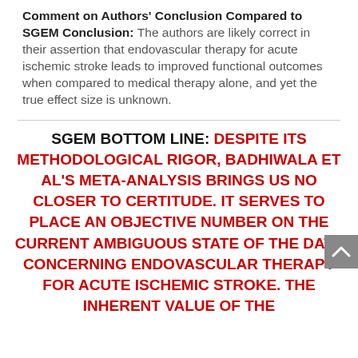Comment on Authors' Conclusion Compared to SGEM Conclusion:
The authors are likely correct in their assertion that endovascular therapy for acute ischemic stroke leads to improved functional outcomes when compared to medical therapy alone, and yet the true effect size is unknown.
SGEM BOTTOM LINE: DESPITE ITS METHODOLOGICAL RIGOR, BADHIWALA ET AL'S META-ANALYSIS BRINGS US NO CLOSER TO CERTITUDE. IT SERVES TO PLACE AN OBJECTIVE NUMBER ON THE CURRENT AMBIGUOUS STATE OF THE DATA CONCERNING ENDOVASCULAR THERAPY FOR ACUTE ISCHEMIC STROKE. THE INHERENT VALUE OF THE